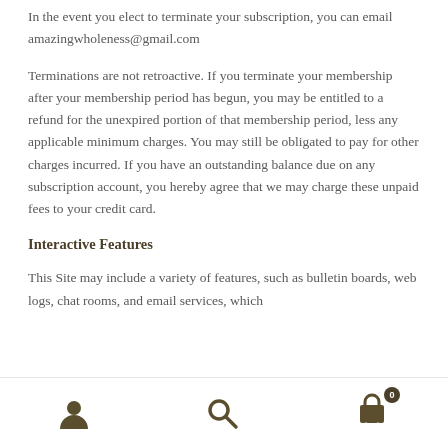In the event you elect to terminate your subscription, you can email amazingwholeness@gmail.com
Terminations are not retroactive. If you terminate your membership after your membership period has begun, you may be entitled to a refund for the unexpired portion of that membership period, less any applicable minimum charges. You may still be obligated to pay for other charges incurred. If you have an outstanding balance due on any subscription account, you hereby agree that we may charge these unpaid fees to your credit card.
Interactive Features
This Site may include a variety of features, such as bulletin boards, web logs, chat rooms, and email services, which
[user icon] [search icon] [cart icon with badge 0]